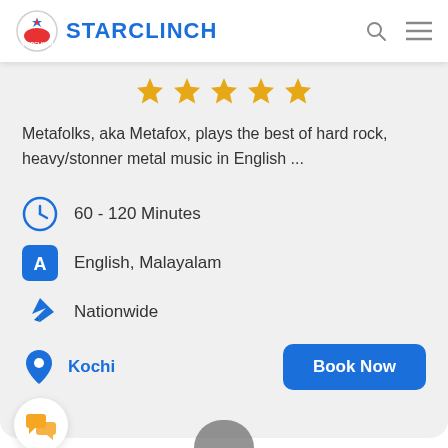STARCLINCH
[Figure (other): Five gold star rating icons]
Metafolks, aka Metafox, plays the best of hard rock, heavy/stonner metal music in English ...
60 - 120 Minutes
English, Malayalam
Nationwide
Kochi
[Figure (other): Book Now button]